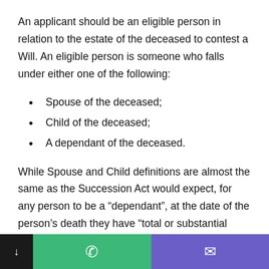An applicant should be an eligible person in relation to the estate of the deceased to contest a Will. An eligible person is someone who falls under either one of the following:
Spouse of the deceased;
Child of the deceased;
A dependant of the deceased.
While Spouse and Child definitions are almost the same as the Succession Act would expect, for any person to be a “dependant”, at the date of the person’s death they have “total or substantial maintained” by the deceased. As such, you may be